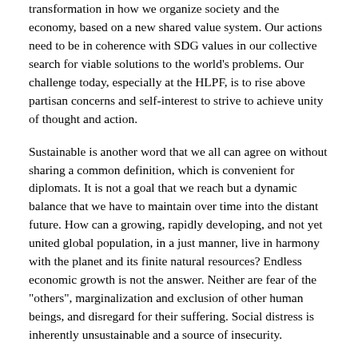transformation in how we organize society and the economy, based on a new shared value system. Our actions need to be in coherence with SDG values in our collective search for viable solutions to the world's problems. Our challenge today, especially at the HLPF, is to rise above partisan concerns and self-interest to strive to achieve unity of thought and action.
Sustainable is another word that we all can agree on without sharing a common definition, which is convenient for diplomats. It is not a goal that we reach but a dynamic balance that we have to maintain over time into the distant future. How can a growing, rapidly developing, and not yet united global population, in a just manner, live in harmony with the planet and its finite natural resources? Endless economic growth is not the answer. Neither are fear of the "others", marginalization and exclusion of other human beings, and disregard for their suffering. Social distress is inherently unsustainable and a source of insecurity.
It is worth also reflecting on the meaning of resilience. It can mean resistance to shocks or the ability to bounce back, implying strong social cohesion. It also means reimagining the economic sphere so